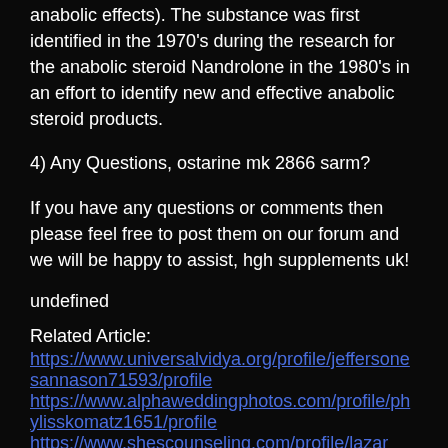anabolic effects). The substance was first identified in the 1970's during the research for the anabolic steroid Nandrolone in the 1980's in an effort to identify new and effective anabolic steroid products.
4) Any Questions, ostarine mk 2866 sarm?
If you have any questions or comments then please feel free to post them on our forum and we will be happy to assist, hgh supplements uk!
undefined
Related Article:
https://www.universalvidya.org/profile/jeffersonesannason71593/profile
https://www.alphaweddingphotos.com/profile/phylisskomatz1651/profile
https://www.shescounseling.com/profile/lazar